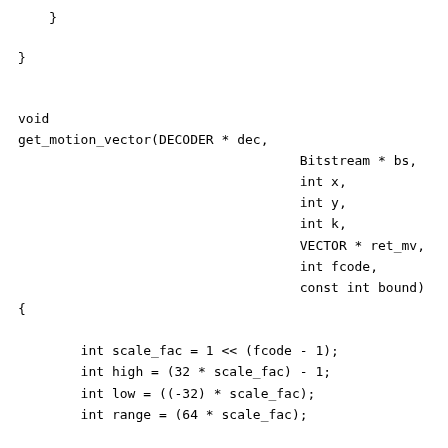}

}


void
get_motion_vector(DECODER * dec,
                                    Bitstream * bs,
                                    int x,
                                    int y,
                                    int k,
                                    VECTOR * ret_mv,
                                    int fcode,
                                    const int bound)
{

        int scale_fac = 1 << (fcode - 1);
        int high = (32 * scale_fac) - 1;
        int low = ((-32) * scale_fac);
        int range = (64 * scale_fac);

        VECTOR pmv;
        VECTOR mv;

        pmv = get_pmv2(dec->mbs, dec->mb_width, bound, x,

        mv.x = get_mv(bs, fcode);
        mv.y = get_mv(bs, fcode);

        DPRINTF(DPRINTF_MV,"mv_diff (%i,%i) pred (%i,%i)